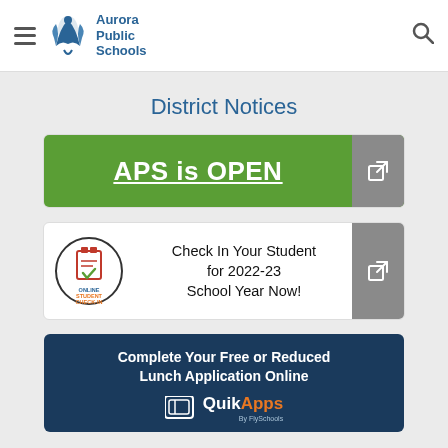Aurora Public Schools
District Notices
[Figure (screenshot): Green button reading 'APS is OPEN' with external link icon]
[Figure (screenshot): White card with Online Student Check-In circular logo and text 'Check In Your Student for 2022-23 School Year Now!']
[Figure (screenshot): Dark blue banner reading 'Complete Your Free or Reduced Lunch Application Online' with QuikApps logo]